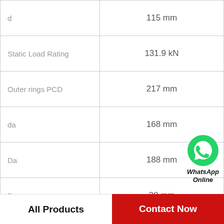| Parameter | Value |
| --- | --- |
| d | 115 mm |
| Static Load Rating | 131.9 kN |
| Outer rings PCD | 217 mm |
| da | 168 mm |
| Da | 188 mm |
| B | 28 mm |
| Number of Mounting Holes | 12 |
| Thread Size |  |
[Figure (logo): WhatsApp Online button with green WhatsApp icon and italic bold text 'WhatsApp Online']
All Products    Contact Now